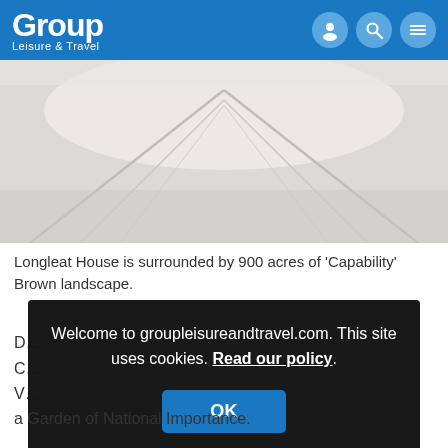Group Leisure & Travel
[Figure (photo): Aerial view of a grand driveway or pathway with perspective lines converging, surrounded by light-colored landscape at Longleat House]
Longleat House is surrounded by 900 acres of 'Capability' Brown landscape.
D…
C…
V…
Welcome to groupleisureandtravel.com. This site uses cookies. Read our policy.
a Garden of National Importance.